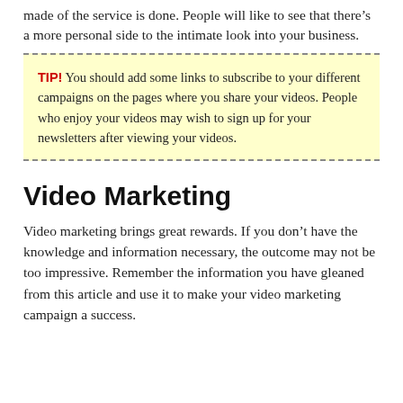made of the service is done. People will like to see that there's a more personal side to the intimate look into your business.
TIP! You should add some links to subscribe to your different campaigns on the pages where you share your videos. People who enjoy your videos may wish to sign up for your newsletters after viewing your videos.
Video Marketing
Video marketing brings great rewards. If you don't have the knowledge and information necessary, the outcome may not be too impressive. Remember the information you have gleaned from this article and use it to make your video marketing campaign a success.